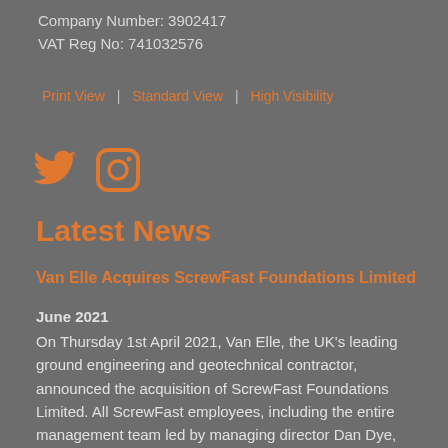Company Number: 3902417
VAT Reg No: 741032576
Print View | Standard View | High Visibility
[Figure (illustration): Twitter bird icon and Instagram camera icon, both in orange color]
Latest News
Van Elle Acquires ScrewFast Foundations Limited
June 2021
On Thursday 1st April 2021, Van Elle, the UK's leading ground engineering and geotechnical contractor, announced the acquisition of ScrewFast Foundations Limited. All ScrewFast employees, including the entire management team led by managing director Dan Dye,